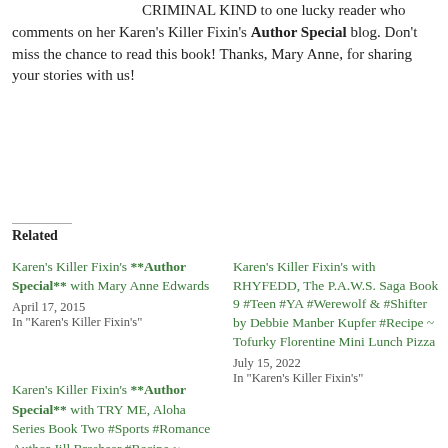CRIMINAL KIND to one lucky reader who comments on her Karen's Killer Fixin's **Author Special** blog. Don't miss the chance to read this book! Thanks, Mary Anne, for sharing your stories with us!
Related
Karen's Killer Fixin's **Author Special** with Mary Anne Edwards
April 17, 2015
In "Karen's Killer Fixin's"
Karen's Killer Fixin's with RHYFEDD, The P.A.W.S. Saga Book 9 #Teen #YA #Werewolf & #Shifter by Debbie Manber Kupfer #Recipe ~ Tofurky Florentine Mini Lunch Pizza
July 15, 2022
In "Karen's Killer Fixin's"
Karen's Killer Fixin's **Author Special** with TRY ME, Aloha Series Book Two #Sports #Romance Author Jill Brashear #Recipe ~ Hawaiian Macaroni Salad